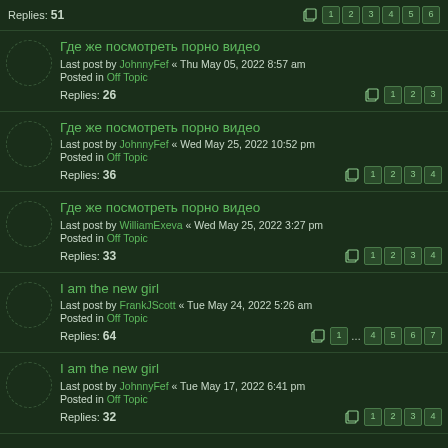Replies: 51, pages: 1 2 3 4 5 6
Где же посмотреть порно видео
Last post by JohnnyFef « Thu May 05, 2022 8:57 am
Posted in Off Topic
Replies: 26, pages: 1 2 3
Где же посмотреть порно видео
Last post by JohnnyFef « Wed May 25, 2022 10:52 pm
Posted in Off Topic
Replies: 36, pages: 1 2 3 4
Где же посмотреть порно видео
Last post by WilliamExeva « Wed May 25, 2022 3:27 pm
Posted in Off Topic
Replies: 33, pages: 1 2 3 4
I am the new girl
Last post by FrankJScott « Tue May 24, 2022 5:26 am
Posted in Off Topic
Replies: 64, pages: 1 ... 4 5 6 7
I am the new girl
Last post by JohnnyFef « Tue May 17, 2022 6:41 pm
Posted in Off Topic
Replies: 32, pages: 1 2 3 4